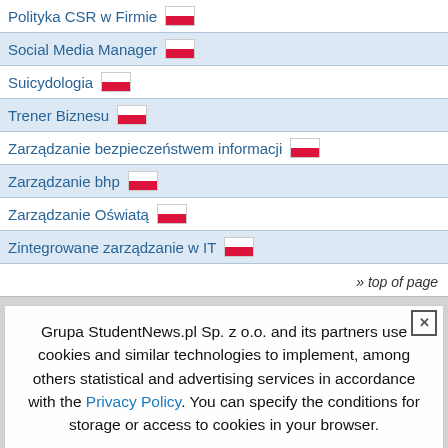Polityka CSR w Firmie
Social Media Manager
Suicydologia
Trener Biznesu
Zarządzanie bezpieczeństwem informacji
Zarządzanie bhp
Zarządzanie Oświatą
Zintegrowane zarządzanie w IT
» top of page
[Figure (screenshot): Cookie consent popup overlay on a Polish education website. Text reads: Grupa StudentNews.pl Sp. z o.o. and its partners use cookies and similar technologies to implement, among others statistical and advertising services in accordance with the Privacy Policy. You can specify the conditions for storage or access to cookies in your browser. [CLOSE]]